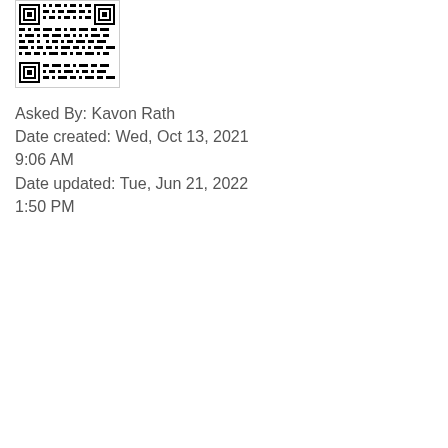[Figure (other): QR code image in a bordered box]
Asked By: Kavon Rath
Date created: Wed, Oct 13, 2021 9:06 AM
Date updated: Tue, Jun 21, 2022 1:50 PM